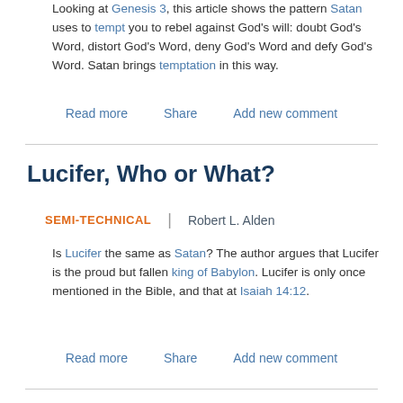Looking at Genesis 3, this article shows the pattern Satan uses to tempt you to rebel against God's will: doubt God's Word, distort God's Word, deny God's Word and defy God's Word. Satan brings temptation in this way.
Read more   Share   Add new comment
Lucifer, Who or What?
SEMI-TECHNICAL  |  Robert L. Alden
Is Lucifer the same as Satan? The author argues that Lucifer is the proud but fallen king of Babylon. Lucifer is only once mentioned in the Bible, and that at Isaiah 14:12.
Read more   Share   Add new comment